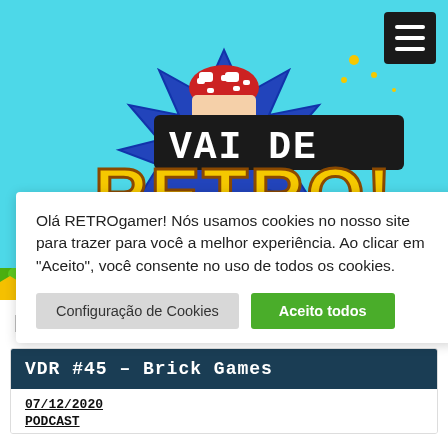[Figure (illustration): Vai de Retro website header banner with cyan/blue background, retro gaming logo with mushroom icon and stylized text 'VAI DE RETRO', green ground strip at bottom with bumps. Black hamburger menu button top right.]
Olá RETROgamer! Nós usamos cookies no nosso site para trazer para você a melhor experiência. Ao clicar em "Aceito", você consente no uso de todos os cookies.
Configuração de Cookies
Aceito todos
Bust a Move
VDR #45 – Brick Games
07/12/2020
PODCAST